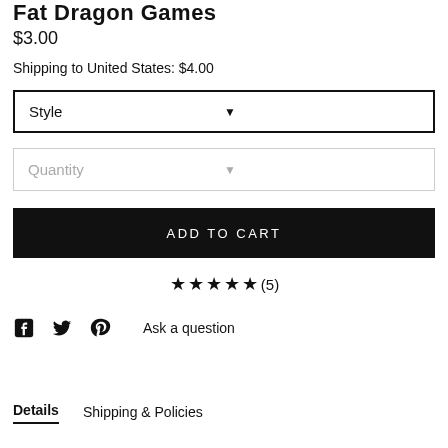Fat Dragon Games
$3.00
Shipping to United States: $4.00
Style (dropdown)
Quantity (dropdown)
ADD TO CART
★★★★★(5)
Ask a question
Details   Shipping & Policies